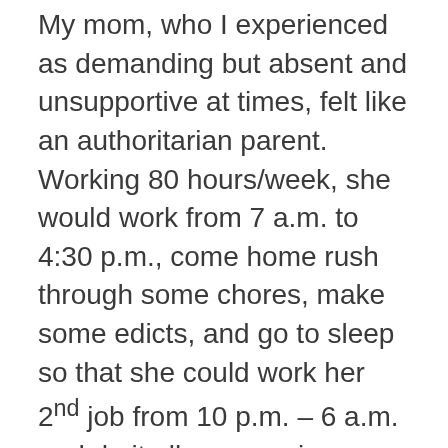My mom, who I experienced as demanding but absent and unsupportive at times, felt like an authoritarian parent.  Working 80 hours/week, she would work from 7 a.m. to 4:30 p.m., come home rush through some chores, make some edicts, and go to sleep so that she could work her 2nd job from 10 p.m. – 6 a.m. and do it all over again.
It's hard to support or demand when you are absent so they would both fall into the neglectful categories at times.
For my own parenting, I would like to submit that I fall into the supportive category most of the time.  I believe our kids clearly feel loved and supported in their unique personalities